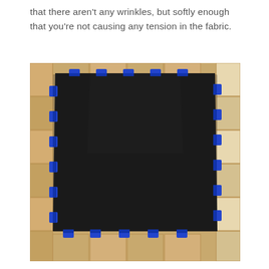that there aren't any wrinkles, but softly enough that you're not causing any tension in the fabric.
[Figure (photo): A large black fabric laid flat on a tiled floor, held down at its edges by multiple blue binder clips or clamps evenly spaced around the perimeter.]